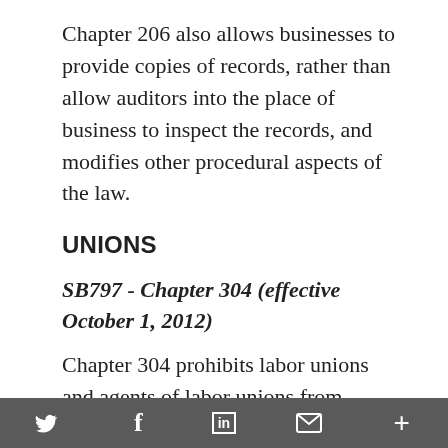Chapter 206 also allows businesses to provide copies of records, rather than allow auditors into the place of business to inspect the records, and modifies other procedural aspects of the law.
UNIONS
SB797 - Chapter 304 (effective October 1, 2012)
Chapter 304 prohibits labor unions and agents of labor unions from being compelled to disclose certain information acquired in confidence from an employee in
𝕏  f  in  ✉  +